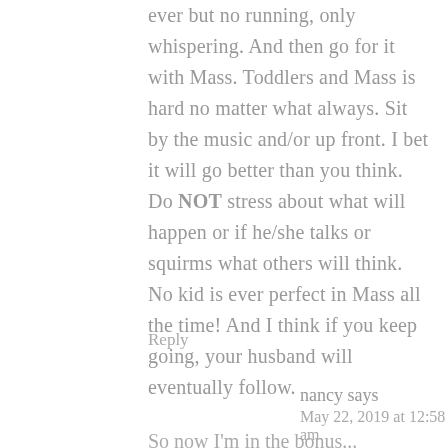ever but no running, only whispering. And then go for it with Mass. Toddlers and Mass is hard no matter what always. Sit by the music and/or up front. I bet it will go better than you think. Do NOT stress about what will happen or if he/she talks or squirms what others will think. No kid is ever perfect in Mass all the time! And I think if you keep going, your husband will eventually follow.
Reply
nancy says
May 22, 2019 at 12:58 am